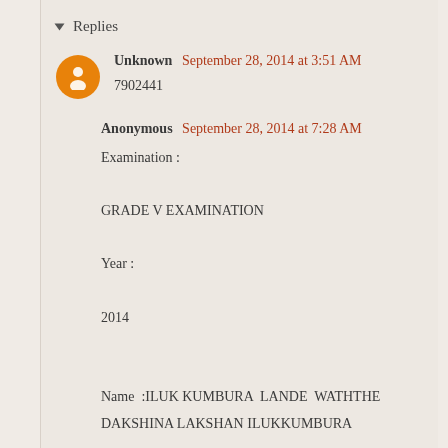▾ Replies
Unknown  September 28, 2014 at 3:51 AM
7902441
Anonymous  September 28, 2014 at 7:28 AM

Examination :

GRADE V EXAMINATION

Year :

2014

Name :ILUK KUMBURA LANDE WATHTHE DAKSHINA LAKSHAN ILUKKUMBURA